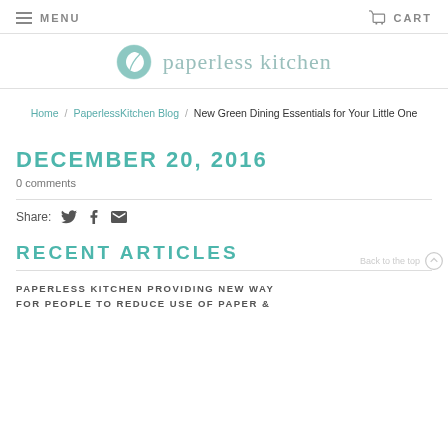MENU   CART
[Figure (logo): Paperless Kitchen logo with green leaf circle icon and text 'paperless kitchen']
Home / PaperlessKitchen Blog / New Green Dining Essentials for Your Little One
DECEMBER 20, 2016
0 comments
Share:
RECENT ARTICLES
PAPERLESS KITCHEN PROVIDING NEW WAY FOR PEOPLE TO REDUCE USE OF PAPER &